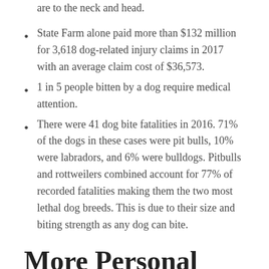are to the neck and head.
State Farm alone paid more than $132 million for 3,618 dog-related injury claims in 2017 with an average claim cost of $36,573.
1 in 5 people bitten by a dog require medical attention.
There were 41 dog bite fatalities in 2016. 71% of the dogs in these cases were pit bulls, 10% were labradors, and 6% were bulldogs. Pitbulls and rottweilers combined account for 77% of recorded fatalities making them the two most lethal dog breeds. This is due to their size and biting strength as any dog can bite.
More Personal Injury Statistics